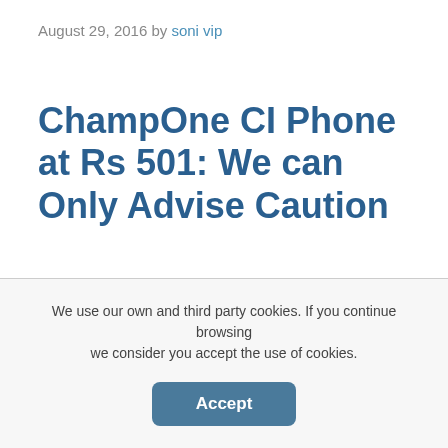August 29, 2016 by soni vip
ChampOne CI Phone at Rs 501: We can Only Advise Caution
ChampOne, a company unheard of before, is claiming a smartphone ChampOne CI or C1 priced at just Rs 501. The Company has its official website http://champ1india.com, that
We use our own and third party cookies. If you continue browsing we consider you accept the use of cookies.